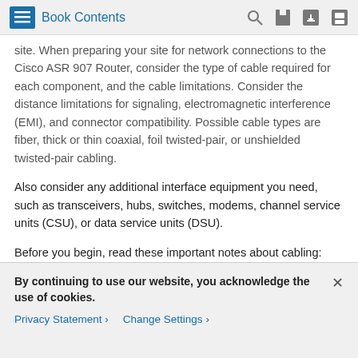Book Contents
site. When preparing your site for network connections to the Cisco ASR 907 Router, consider the type of cable required for each component, and the cable limitations. Consider the distance limitations for signaling, electromagnetic interference (EMI), and connector compatibility. Possible cable types are fiber, thick or thin coaxial, foil twisted-pair, or unshielded twisted-pair cabling.
Also consider any additional interface equipment you need, such as transceivers, hubs, switches, modems, channel service units (CSU), or data service units (DSU).
Before you begin, read these important notes about cabling:
The T1/E1 interface module for the Cisco ASR 907 Router uses a high-density connector that requires the use of a T1/E1 interface cable that comes with the interface...
By continuing to use our website, you acknowledge the use of cookies.
Privacy Statement  Change Settings